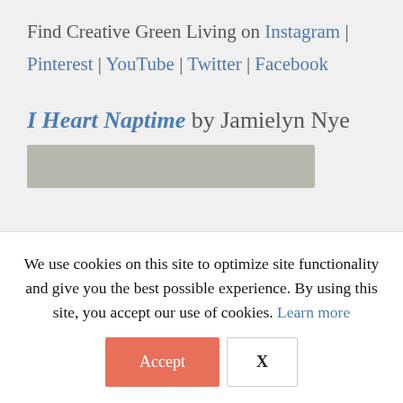Find Creative Green Living on Instagram | Pinterest | YouTube | Twitter | Facebook
I Heart Naptime by Jamielyn Nye
[Figure (other): Partially visible book cover image with gray-green background]
We use cookies on this site to optimize site functionality and give you the best possible experience. By using this site, you accept our use of cookies. Learn more